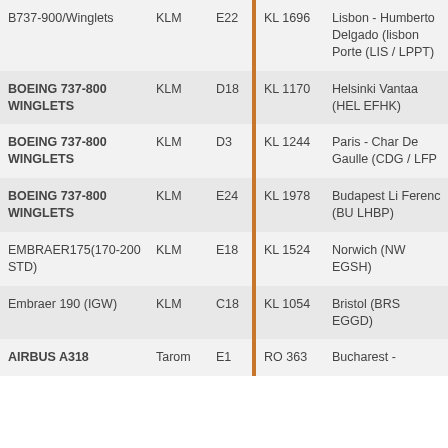| Aircraft | Airline | Gate |  | Flight | Destination |
| --- | --- | --- | --- | --- | --- |
| B737-900/Winglets | KLM | E22 |  | KL 1696 | Lisbon - Humberto Delgado (lisbon Porte (LIS / LPPT) |
| BOEING 737-800 WINGLETS | KLM | D18 |  | KL 1170 | Helsinki Vantaa (HEL EFHK) |
| BOEING 737-800 WINGLETS | KLM | D3 |  | KL 1244 | Paris - Char De Gaulle (CDG / LFP |
| BOEING 737-800 WINGLETS | KLM | E24 |  | KL 1978 | Budapest Li Ferenc (BU LHBP) |
| EMBRAER175(170-200 STD) | KLM | E18 |  | KL 1524 | Norwich (NW EGSH) |
| Embraer 190 (IGW) | KLM | C18 |  | KL 1054 | Bristol (BRS EGGD) |
| AIRBUS A318 | Tarom | E1 |  | RO 363 | Bucharest - |